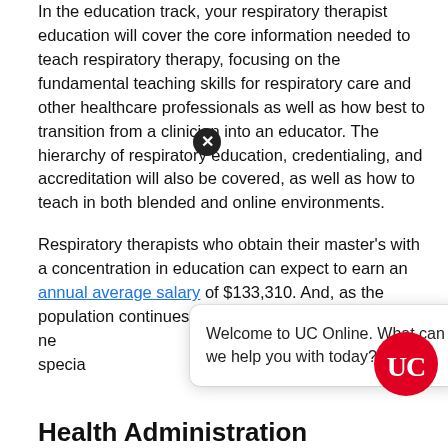In the education track, your respiratory therapist education will cover the core information needed to teach respiratory therapy, focusing on the fundamental teaching skills for respiratory care and other healthcare professionals as well as how best to transition from a clinician into an educator. The hierarchy of respiratory education, credentialing, and accreditation will also be covered, as well as how to teach in both blended and online environments.
Respiratory therapists who obtain their master's with a concentration in education can expect to earn an annual average salary of $133,310. And, as the population continues to age, the need for the need for allied health specialists including respiratory care specialists will increase.
[Figure (screenshot): UC Online chat widget overlay with close button and UC logo, text: Welcome to UC Online. What can we help you with today?]
Health Administration